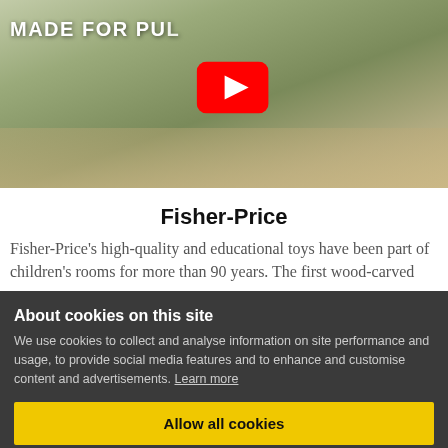[Figure (screenshot): Video thumbnail showing a toddler pulling a toy, with text 'MADE FOR PU...' and a YouTube play button overlay]
Fisher-Price
Fisher-Price's high-quality and educational toys have been part of children's rooms for more than 90 years. The first wood-carved
About cookies on this site
We use cookies to collect and analyse information on site performance and usage, to provide social media features and to enhance and customise content and advertisements. Learn more
Allow all cookies
Cookie settings